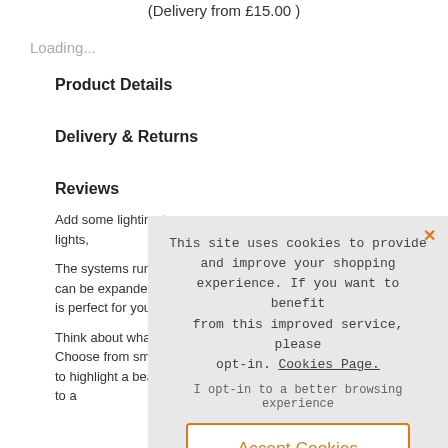(Delivery from £15.00 )
Loading...
Product Details
Delivery & Returns
Reviews
Add some lighting to ... lights,
The systems runs at ... can be expanded with ... is perfect for your ga...
Think about what typ... Choose from small sp... to highlight a beautiful tree. Bollard lights are a great addition to a
[Figure (screenshot): Cookie consent overlay with message 'This site uses cookies to provide and improve your shopping experience. If you want to benefit from this improved service, please opt-in. Cookies Page.' and buttons 'I opt-in to a better browsing experience' and 'Accept Cookies', with an X close button in orange.]